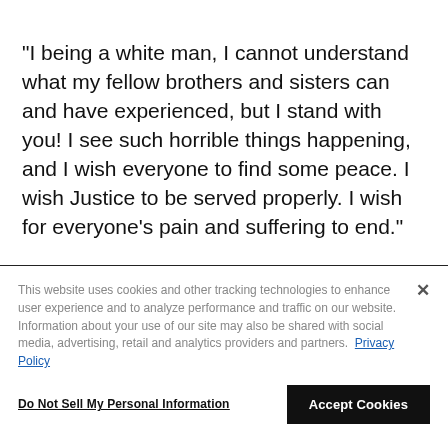"I being a white man, I cannot understand what my fellow brothers and sisters can and have experienced, but I stand with you! I see such horrible things happening, and I wish everyone to find some peace. I wish Justice to be served properly. I wish for everyone's pain and suffering to end."
This website uses cookies and other tracking technologies to enhance user experience and to analyze performance and traffic on our website. Information about your use of our site may also be shared with social media, advertising, retail and analytics providers and partners. Privacy Policy
Do Not Sell My Personal Information
Accept Cookies